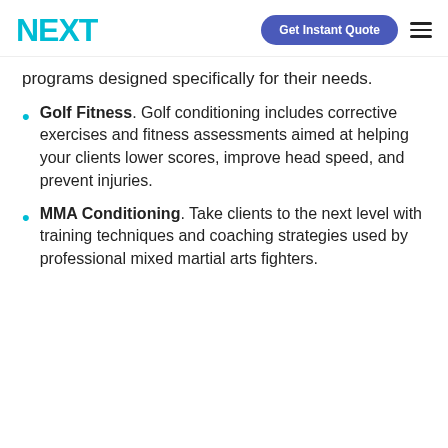NEXT | Get Instant Quote
programs designed specifically for their needs.
Golf Fitness. Golf conditioning includes corrective exercises and fitness assessments aimed at helping your clients lower scores, improve head speed, and prevent injuries.
MMA Conditioning. Take clients to the next level with training techniques and coaching strategies used by professional mixed martial arts fighters.